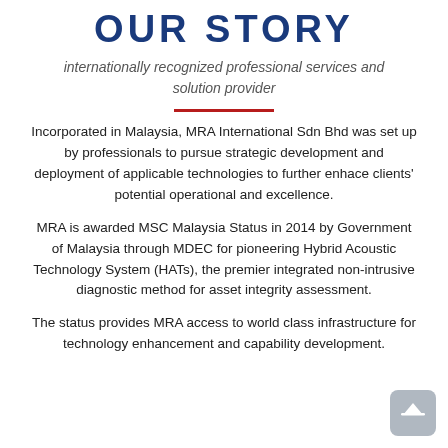OUR STORY
internationally recognized professional services and solution provider
Incorporated in Malaysia, MRA International Sdn Bhd was set up by professionals to pursue strategic development and deployment of applicable technologies to further enhace clients' potential operational and excellence.
MRA is awarded MSC Malaysia Status in 2014 by Government of Malaysia through MDEC for pioneering Hybrid Acoustic Technology System (HATs), the premier integrated non-intrusive diagnostic method for asset integrity assessment.
The status provides MRA access to world class infrastructure for technology enhancement and capability development.